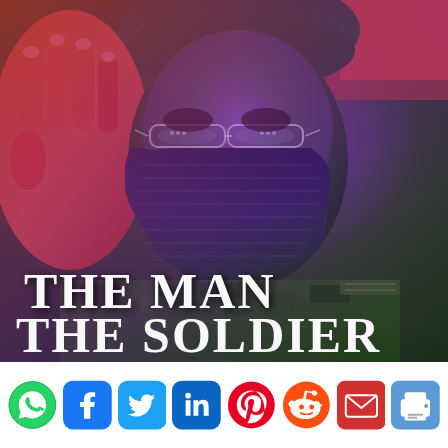[Figure (photo): A soldier in military camouflage uniform, wearing a green beret, rimless glasses, and a dark face mask. The image has dramatic colorized lighting with red/purple/blue tones. A red-tinted hand is raised in salute on the left side. Overlaid text reads 'THE MAN / THE SOLDIER / THE PATRIOT' in white and green serif font.]
[Figure (infographic): Social media sharing icons bar at the bottom: WhatsApp (green circle), Facebook (blue rounded square), Twitter (blue rounded square), LinkedIn (dark blue rounded square), Pinterest (red circle), Reddit (orange circle), Email (red rounded square), Print (blue rounded square).]